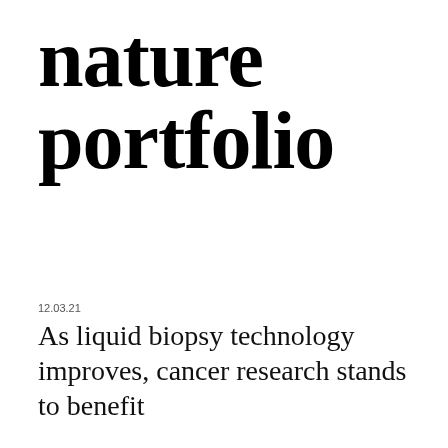nature portfolio
12.03.21
As liquid biopsy technology improves, cancer research stands to benefit